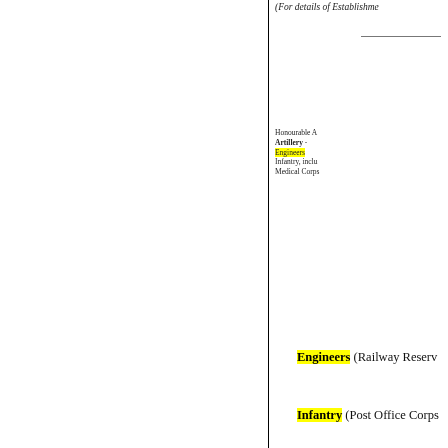(For details of Establishment
Honourable A
Artillery -
Engineers
Infantry, inclu
Medical Corps
NOTES. -The following num Corps :
Engineers (Railway Reserv
Infantry (Post Office Corps
QUARTERING, TRANSPO